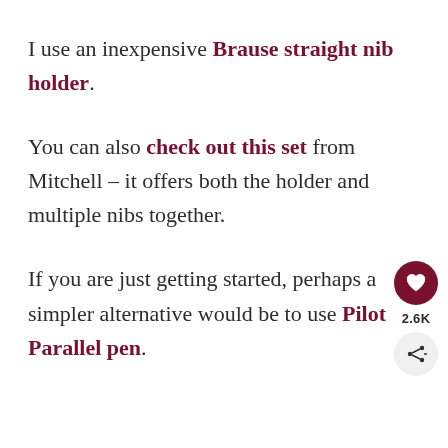I use an inexpensive Brause straight nib holder.
You can also check out this set from Mitchell – it offers both the holder and multiple nibs together.
If you are just getting started, perhaps a simpler alternative would be to use Pilot Parallel pen.